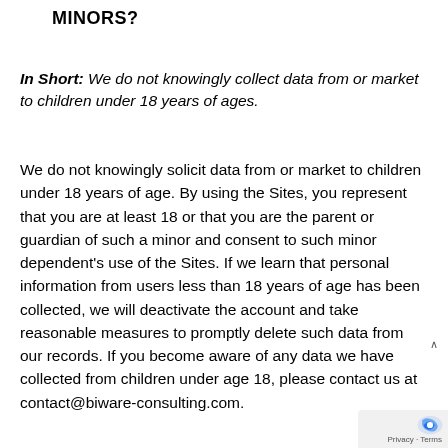MINORS?
In Short: We do not knowingly collect data from or market to children under 18 years of ages.
We do not knowingly solicit data from or market to children under 18 years of age. By using the Sites, you represent that you are at least 18 or that you are the parent or guardian of such a minor and consent to such minor dependent's use of the Sites. If we learn that personal information from users less than 18 years of age has been collected, we will deactivate the account and take reasonable measures to promptly delete such data from our records. If you become aware of any data we have collected from children under age 18, please contact us at contact@biware-consulting.com.